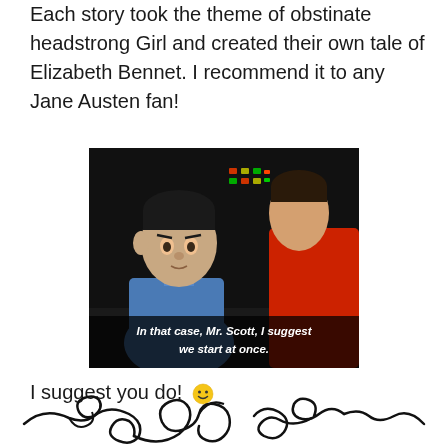Each story took the theme of obstinate headstrong Girl and created their own tale of Elizabeth Bennet. I recommend it to any Jane Austen fan!
[Figure (photo): Star Trek scene showing Spock in blue uniform and another crew member in red uniform, with subtitle text reading 'In that case, Mr. Scott, I suggest we start at once.']
I suggest you do! 🙂
[Figure (illustration): Decorative black swirling divider line with scrollwork and flourishes]